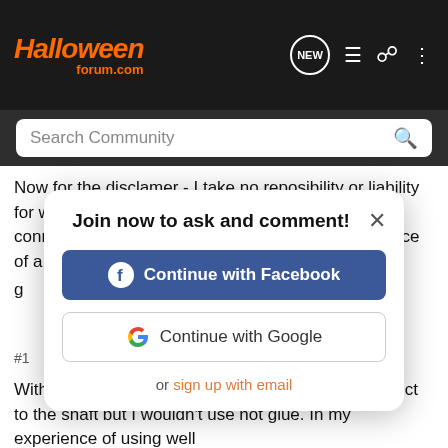Halloweenforum.com
Now for the disclamer - I take no reposibility or liability for wiring the motor - particularly to a mains power connection - if you are at all uncertain seek the advice of a qualified electrician
[Figure (screenshot): Modal dialog with title 'Join now to ask and comment!' and buttons: 'Continue with Facebook' (blue), 'Continue with Google' (white with border), and 'or sign up with email' link. Close X button in top right.]
Without a picture I can't recommend a way to connect to the shaft but I wouldn't use hot glue. In my experience of using well